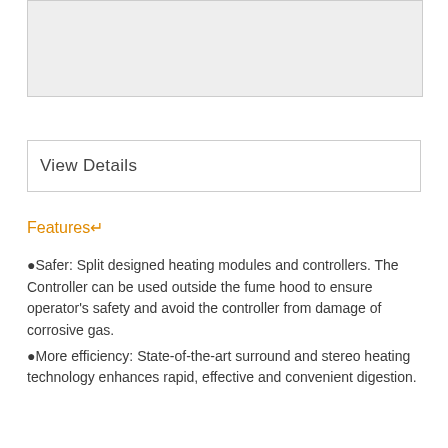[Figure (photo): Product image placeholder area (grey box)]
View Details
Features↵
Safer: Split designed heating modules and controllers. The Controller can be used outside the fume hood to ensure operator's safety and avoid the controller from damage of corrosive gas.
More efficiency: State-of-the-art surround and stereo heating technology enhances rapid, effective and convenient digestion.